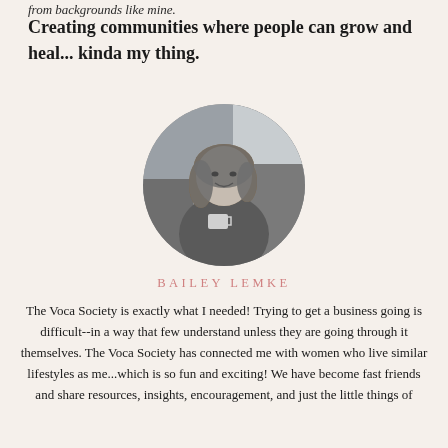from backgrounds like mine.
Creating communities where people can grow and heal... kinda my thing.
[Figure (photo): Black and white circular portrait photo of Bailey Lemke sitting in a chair holding a mug, smiling.]
BAILEY LEMKE
The Voca Society is exactly what I needed! Trying to get a business going is difficult--in a way that few understand unless they are going through it themselves. The Voca Society has connected me with women who live similar lifestyles as me...which is so fun and exciting! We have become fast friends and share resources, insights, encouragement, and just the little things of